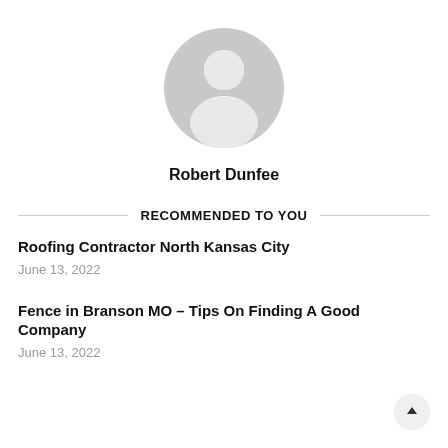[Figure (illustration): Gray default user avatar icon — circular silhouette with head and shoulders]
Robert Dunfee
RECOMMENDED TO YOU
Roofing Contractor North Kansas City
June 13, 2022
Fence in Branson MO – Tips On Finding A Good Company
June 13, 2022